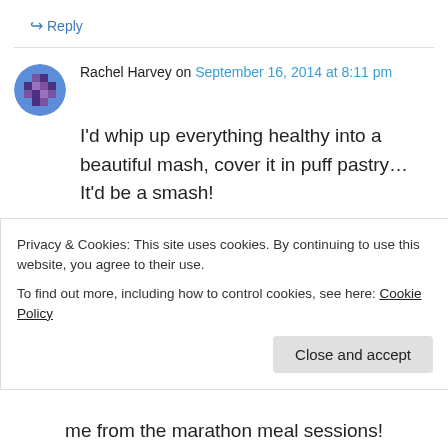↪ Reply
Rachel Harvey on September 16, 2014 at 8:11 pm
I'd whip up everything healthy into a beautiful mash, cover it in puff pastry… It'd be a smash!
↪ Reply
Rebecca Cronin on September 16, 2014 at 8:26 pm
My boys ate their first salad ever that came with me from the marathon meal sessions!
Privacy & Cookies: This site uses cookies. By continuing to use this website, you agree to their use.
To find out more, including how to control cookies, see here: Cookie Policy
Close and accept